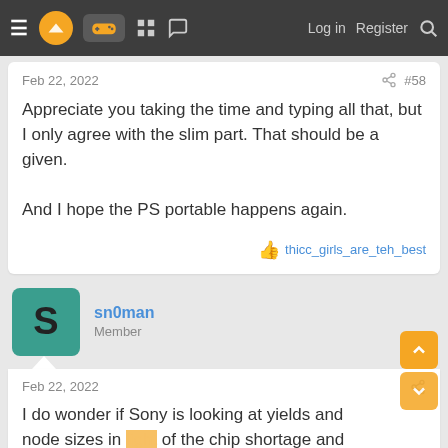Log in  Register
Feb 22, 2022  #58
Appreciate you taking the time and typing all that, but I only agree with the slim part. That should be a given.

And I hope the PS portable happens again.
thicc_girls_are_teh_best
sn0man
Member
Feb 22, 2022
I do wonder if Sony is looking at yields and node sizes in light of the chip shortage and considering a slim as a higher priority than a pro.